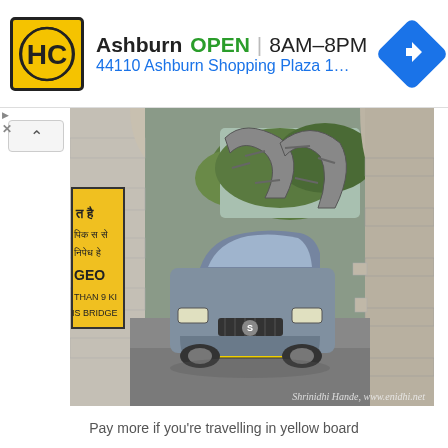[Figure (screenshot): Advertisement banner for Highwoods Properties / HC auto shop in Ashburn showing logo, OPEN status, hours 8AM-8PM, address 44110 Ashburn Shopping Plaza 190 A..., and a blue navigation arrow icon]
[Figure (photo): A grey Suzuki Swift/Dzire car passing through a narrow passage under an old stone arch bridge in India. A yellow warning sign in Hindi is visible on the left pillar. Metal arched trellis structure visible in the background with green trees. Watermark reads: Shrinidhi Hande, www.enidhi.net]
Pay more if you're travelling in yellow board